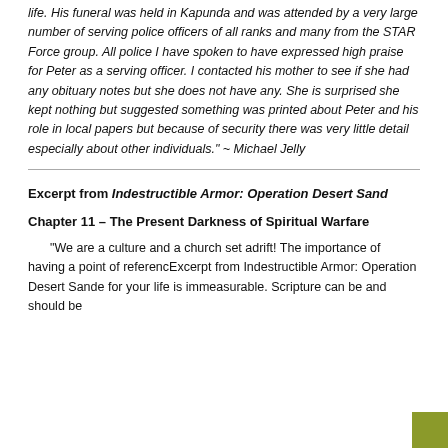life. His funeral was held in Kapunda and was attended by a very large number of serving police officers of all ranks and many from the STAR Force group. All police I have spoken to have expressed high praise for Peter as a serving officer. I contacted his mother to see if she had any obituary notes but she does not have any. She is surprised she kept nothing but suggested something was printed about Peter and his role in local papers but because of security there was very little detail especially about other individuals." ~ Michael Jelly
Excerpt from Indestructible Armor: Operation Desert Sand
Chapter 11 – The Present Darkness of Spiritual Warfare
“We are a culture and a church set adrift! The importance of having a point of referencExcerpt from Indestructible Armor: Operation Desert Sande for your life is immeasurable. Scripture can be and should be